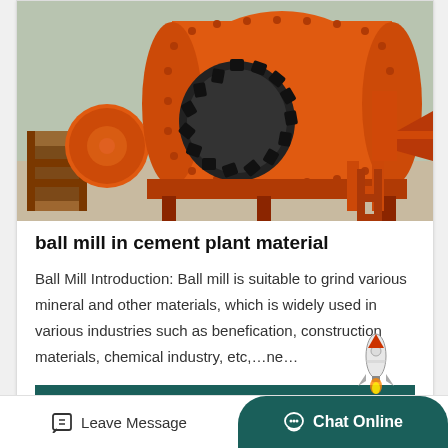[Figure (photo): Large orange industrial ball mill machine in a factory/yard setting. Two cylindrical drum units visible with large gear wheel, supporting frames, and auxiliary equipment. Machine is painted orange.]
ball mill in cement plant material
Ball Mill Introduction: Ball mill is suitable to grind various mineral and other materials, which is widely used in various industries such as benefication, construction materials, chemical industry, etc,…ne…
Read More
Leave Message
Chat Online